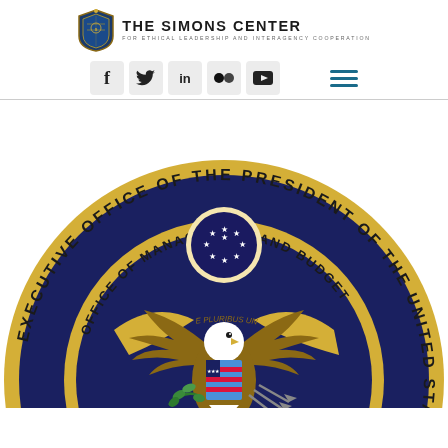THE SIMONS CENTER FOR ETHICAL LEADERSHIP AND INTERAGENCY COOPERATION
[Figure (logo): The Simons Center logo with shield crest and social media icons (Facebook, Twitter, LinkedIn, Flickr, YouTube) and hamburger menu]
[Figure (illustration): Official seal of the Executive Office of the President of the United States - Office of Management and Budget, showing the Great Seal eagle with shield, olive branch and arrows, surrounded by circular text on a dark blue background with gold border]